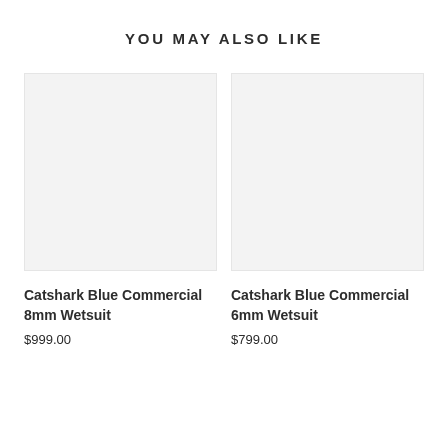YOU MAY ALSO LIKE
[Figure (photo): Product image placeholder for Catshark Blue Commercial 8mm Wetsuit (light gray rectangle)]
Catshark Blue Commercial 8mm Wetsuit
$999.00
[Figure (photo): Product image placeholder for Catshark Blue Commercial 6mm Wetsuit (light gray rectangle)]
Catshark Blue Commercial 6mm Wetsuit
$799.00